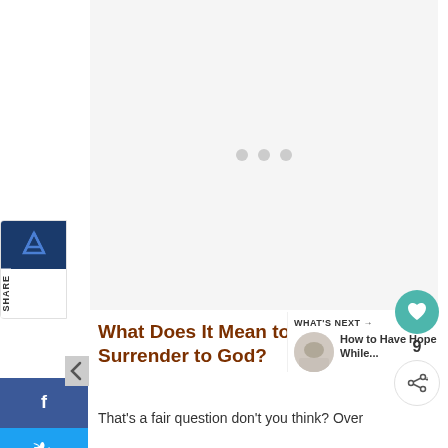[Figure (other): Advertisement placeholder area with three gray loading dots]
[Figure (other): Vertical share sidebar widget with logo and SHARE text label]
[Figure (other): Social media share buttons: Facebook (blue), Twitter (light blue), Pinterest (red), Reddit (light blue)]
[Figure (other): Like/share floating widget on right side: teal heart button, count 9, share icon button]
[Figure (other): Left-pointing navigation arrow]
What Does It Mean to Surrender to God?
[Figure (other): What's Next panel with thumbnail image and link title 'How to Have Hope While...']
That's a fair question don't you think? Over